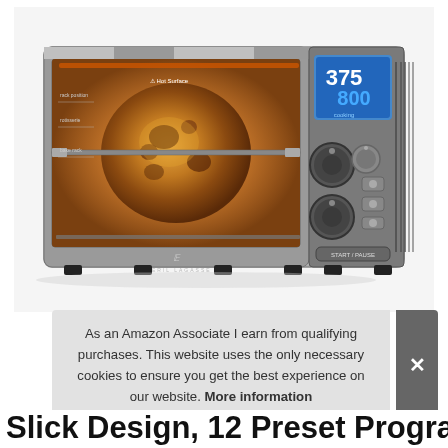[Figure (photo): Stainless steel Emeril Lagasse branded countertop toaster/rotisserie oven with a whole roasted chicken on a rotisserie spit inside, digital display showing 375 and 800, with control knobs and buttons on the right side panel.]
As an Amazon Associate I earn from qualifying purchases. This website uses the only necessary cookies to ensure you get the best experience on our website. More information
Slick Design, 12 Preset Programs | with